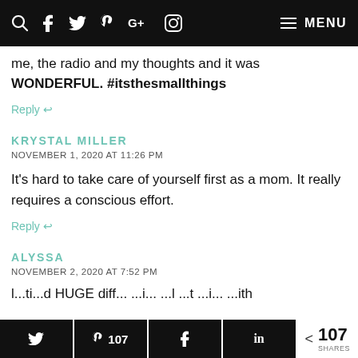Navigation bar with search, social icons (Facebook, Twitter, Pinterest, Google+, Instagram), and MENU
me, the radio and my thoughts and it was WONDERFUL. #itsthesmallthings
Reply
KRYSTAL MILLER
NOVEMBER 1, 2020 AT 11:26 PM
It's hard to take care of yourself first as a mom. It really requires a conscious effort.
Reply
ALYSSA
NOVEMBER 2, 2020 AT 7:52 PM
Share bar: Twitter, Pinterest 107, Facebook, LinkedIn, < 107 SHARES